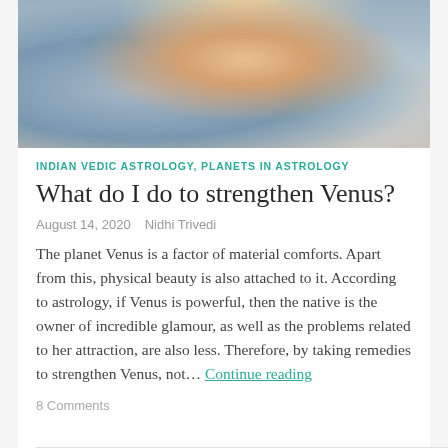[Figure (illustration): Painting of a feminine figure with long golden hair against a blue and golden background]
INDIAN VEDIC ASTROLOGY, PLANETS IN ASTROLOGY
What do I do to strengthen Venus?
August 14, 2020   Nidhi Trivedi
The planet Venus is a factor of material comforts. Apart from this, physical beauty is also attached to it. According to astrology, if Venus is powerful, then the native is the owner of incredible glamour, as well as the problems related to her attraction, are also less. Therefore, by taking remedies to strengthen Venus, not… Continue reading
8 Comments